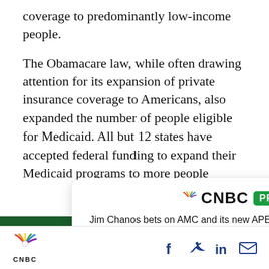coverage to predominantly low-income people.
The Obamacare law, while often drawing attention for its expansion of private insurance coverage to Americans, also expanded the number of people eligible for Medicaid. All but 12 states have accepted federal funding to expand their Medicaid programs to more people
[Figure (other): CNBC PRO advertisement card with headline 'Jim Chanos bets on AMC and its new APE shares to converge in an arbitrage trade' and a green 'SUBSCRIBE NOW' button, displayed on a dark green background with a close (X) button.]
[Figure (logo): CNBC peacock logo with CNBC text at bottom left of footer bar, with Facebook, Twitter, LinkedIn, and email social share icons on the right side of the footer.]